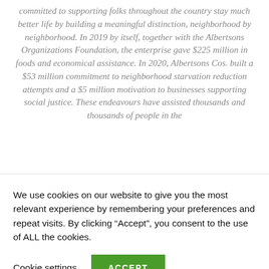committed to supporting folks throughout the country stay much better life by building a meaningful distinction, neighborhood by neighborhood. In 2019 by itself, together with the Albertsons Organizations Foundation, the enterprise gave $225 million in foods and economical assistance. In 2020, Albertsons Cos. built a $53 million commitment to neighborhood starvation reduction attempts and a $5 million motivation to businesses supporting social justice. These endeavours have assisted thousands and thousands of people in the
We use cookies on our website to give you the most relevant experience by remembering your preferences and repeat visits. By clicking "Accept", you consent to the use of ALL the cookies.
Cookie settings
ACCEPT